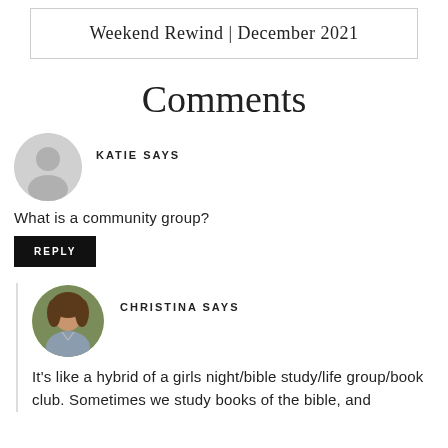Weekend Rewind | December 2021
Comments
KATIE SAYS
[Figure (illustration): Gray placeholder avatar circle with silhouette of a person]
What is a community group?
REPLY
CHRISTINA SAYS
[Figure (photo): Photo of Christina, a woman with brown hair wearing a gray top, shown from the waist up outdoors with greenery in the background]
It's like a hybrid of a girls night/bible study/life group/book club. Sometimes we study books of the bible, and